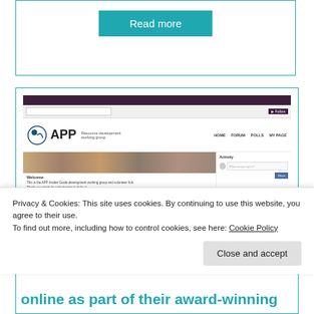[Figure (screenshot): A 'Read more' button with teal background inside a bordered card]
[Figure (screenshot): Screenshot of APP (Action on Postpartum Psychosis) website showing the Resource development working group page with navigation (HOME, FORUM, POLLS, MY PAGE), a Welcome section with volunteer hub text, and an Activity sidebar]
Co-creating new resources with Action on Postpartum Psychosis
Privacy & Cookies: This site uses cookies. By continuing to use this website, you agree to their use.
To find out more, including how to control cookies, see here: Cookie Policy
Close and accept
online as part of their award-winning peer